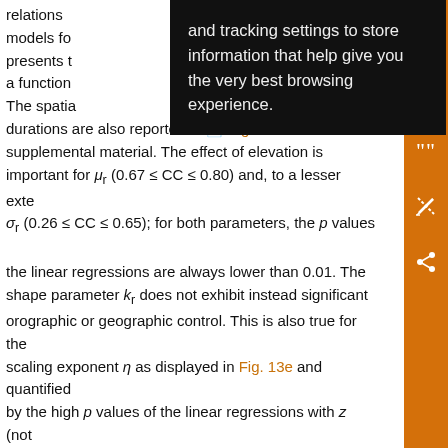relations … and tracking settings to store information that help give you the very best browsing experience. … models fo… Fig. 13d presents … (CC) as a function … els) The spatial … ntati durations are also reported in Fig. S2 of the online supplemental material. The effect of elevation is important for μ_r (0.67 ≤ CC ≤ 0.80) and, to a lesser extent σ_r (0.26 ≤ CC ≤ 0.65); for both parameters, the p values of the linear regressions are always lower than 0.01. The shape parameter k_r does not exhibit instead significant orographic or geographic control. This is also true for the scaling exponent η as displayed in Fig. 13e and quantified by the high p values of the linear regressions with z (not shown). These findings suggest that terrain affects mainly the mean of the distributions of annual rainfall maxima, but it does not have an important effect on the shape of